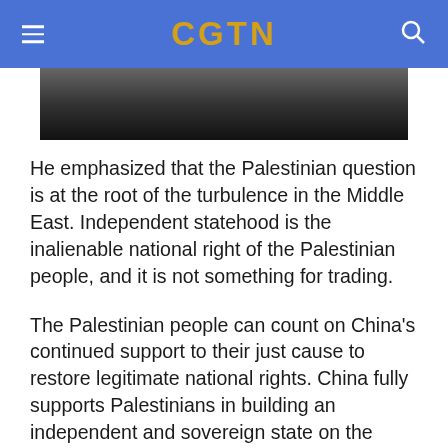CGTN
[Figure (photo): Partial photo strip showing people, appears to be a news photograph cropped at the top]
He emphasized that the Palestinian question is at the root of the turbulence in the Middle East. Independent statehood is the inalienable national right of the Palestinian people, and it is not something for trading.
The Palestinian people can count on China's continued support to their just cause to restore legitimate national rights. China fully supports Palestinians in building an independent and sovereign state on the basis of the 1967 borders, with East Jerusalem as their capital. China will work closely with the international community in